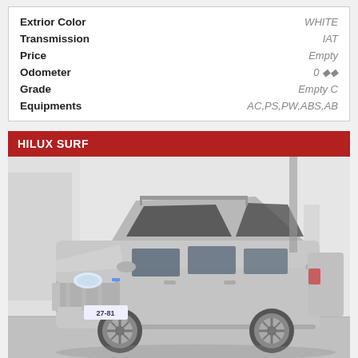| Field | Value |
| --- | --- |
| Extrior Color | WHITE |
| Transmission | IAT |
| Price | Empty |
| Odometer | 0 ◆◆ |
| Grade | Empty C |
| Equipments | AC,PS,PW,ABS,AB |
HILUX SURF
[Figure (photo): Silver Toyota Hilux Surf SUV photographed in a white garage/auction facility. Front three-quarter view showing the vehicle's silver metallic body, aftermarket bull bar, alloy wheels, and Japanese license plate 27-81.]